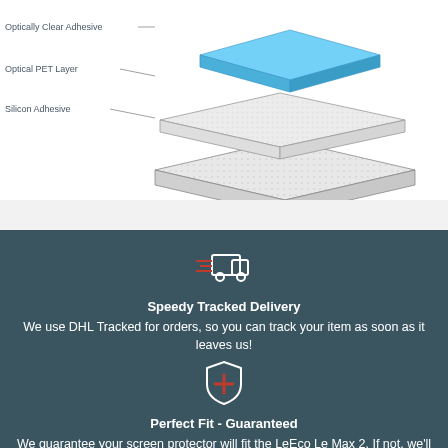[Figure (engineering-diagram): Exploded layer diagram showing screen protector layers: Optically Clear Adhesive (top blue layer), Optical PET Layer (middle), Silicon Adhesive (bottom), with dotted pattern sheets stacked in isometric view]
[Figure (illustration): White truck/delivery van icon with red motion lines on dark teal background]
Speedy Tracked Delivery
We use DHL Tracked for orders, so you can track your item as soon as it leaves us!
[Figure (illustration): White shield icon with red cross/plus symbol on dark teal background]
Perfect Fit - Guaranteed
We guarantee your screen protector will fit the LeEco Le Max 2. If not, we'll make it right. You're in safe hands.